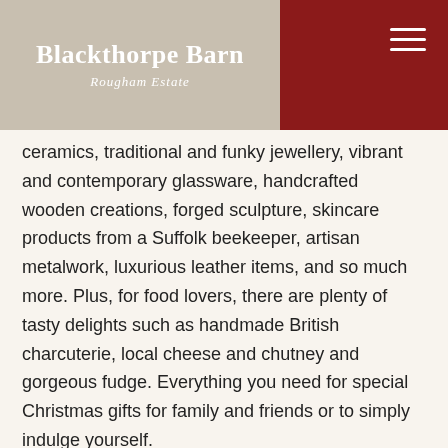Blackthorpe Barn — Rougham Estate
ceramics, traditional and funky jewellery, vibrant and contemporary glassware, handcrafted wooden creations, forged sculpture, skincare products from a Suffolk beekeeper, artisan metalwork, luxurious leather items, and so much more. Plus, for food lovers, there are plenty of tasty delights such as handmade British charcuterie, local cheese and chutney and gorgeous fudge. Everything you need for special Christmas gifts for family and friends or to simply indulge yourself.
Find out who'll be appearing at which weekends here.
SHARE